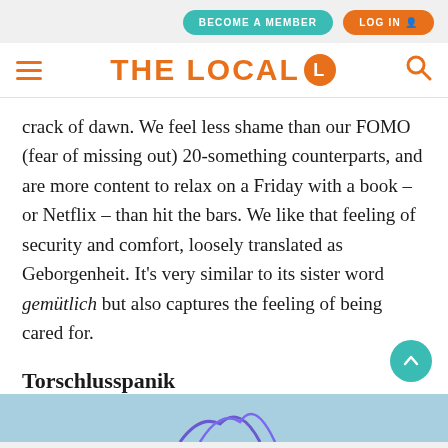BECOME A MEMBER | LOG IN
THE LOCAL
crack of dawn. We feel less shame than our FOMO (fear of missing out) 20-something counterparts, and are more content to relax on a Friday with a book – or Netflix – than hit the bars. We like that feeling of security and comfort, loosely translated as Geborgenheit. It's very similar to its sister word gemütlich but also captures the feeling of being cared for.
Torschlusspanik